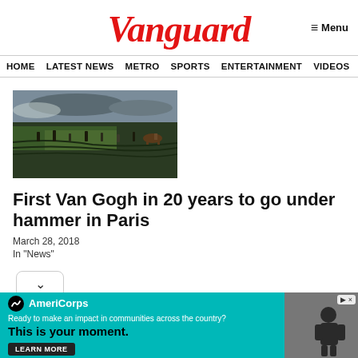Vanguard
≡ Menu
HOME  LATEST NEWS  METRO  SPORTS  ENTERTAINMENT  VIDEOS
[Figure (photo): Painting of people working in a field, dark tones, landscape scene, Van Gogh style]
First Van Gogh in 20 years to go under hammer in Paris
March 28, 2018
In "News"
[Figure (infographic): AmeriCorps advertisement with teal background. AmeriCorps logo, text: Ready to make an impact in communities across the country? This is your moment. LEARN MORE button.]